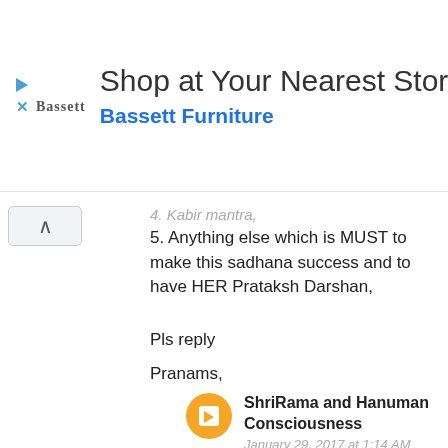[Figure (screenshot): Advertisement banner for Bassett Furniture: 'Shop at Your Nearest Store' with Bassett logo and blue diamond arrow icon]
4. Kabir mantra,
5. Anything else which is MUST to make this sadhana success and to have HER Prataksh Darshan,
Pls reply
Pranams,
ShriRama and Hanuman Consciousness
January 29, 2017 at 1:14 AM
1. They need to be kept at same place.
2. You must follow bhumi shaiya. That is, you must spread a cloth on the floor and then